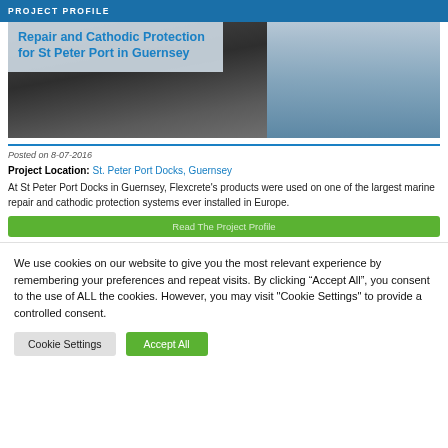PROJECT PROFILE
Repair and Cathodic Protection for St Peter Port in Guernsey
[Figure (photo): Construction/marine site photo showing concrete structure underside with repair work, partially overlaid by the project title box. Right portion shows a glass/steel structure.]
Posted on 8-07-2016
Project Location: St. Peter Port Docks, Guernsey
At St Peter Port Docks in Guernsey, Flexcrete’s products were used on one of the largest marine repair and cathodic protection systems ever installed in Europe.
Read The Project Profile
We use cookies on our website to give you the most relevant experience by remembering your preferences and repeat visits. By clicking “Accept All”, you consent to the use of ALL the cookies. However, you may visit "Cookie Settings" to provide a controlled consent.
Cookie Settings
Accept All